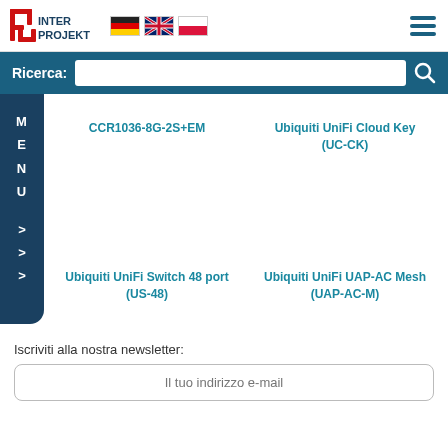Inter Projekt logo with German, UK, Polish flags and hamburger menu
Ricerca:
CCR1036-8G-2S+EM
Ubiquiti UniFi Cloud Key (UC-CK)
Ubiquiti UniFi Switch 48 port (US-48)
Ubiquiti UniFi UAP-AC Mesh (UAP-AC-M)
Iscriviti alla nostra newsletter:
Il tuo indirizzo e-mail